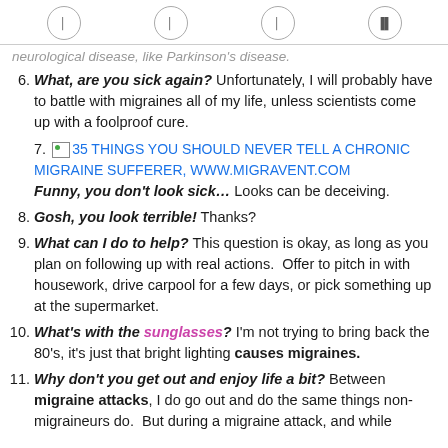[navigation icons]
neurological disease, like Parkinson's disease.
6. What, are you sick again? Unfortunately, I will probably have to battle with migraines all of my life, unless scientists come up with a foolproof cure.
7. [image: 35 THINGS YOU SHOULD NEVER TELL A CHRONIC MIGRAINE SUFFERER, WWW.MIGRAVENT.COM] Funny, you don't look sick... Looks can be deceiving.
8. Gosh, you look terrible! Thanks?
9. What can I do to help? This question is okay, as long as you plan on following up with real actions. Offer to pitch in with housework, drive carpool for a few days, or pick something up at the supermarket.
10. What's with the sunglasses? I'm not trying to bring back the 80's, it's just that bright lighting causes migraines.
11. Why don't you get out and enjoy life a bit? Between migraine attacks, I do go out and do the same things non-migraineurs do. But during a migraine attack, and while